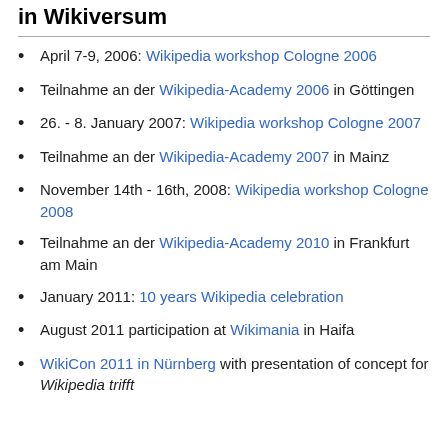in Wikiversum
April 7-9, 2006: Wikipedia workshop Cologne 2006
Teilnahme an der Wikipedia-Academy 2006 in Göttingen
26. - 8. January 2007: Wikipedia workshop Cologne 2007
Teilnahme an der Wikipedia-Academy 2007 in Mainz
November 14th - 16th, 2008: Wikipedia workshop Cologne 2008
Teilnahme an der Wikipedia-Academy 2010 in Frankfurt am Main
January 2011: 10 years Wikipedia celebration
August 2011 participation at Wikimania in Haifa
WikiCon 2011 in Nürnberg with presentation of concept for Wikipedia trifft…